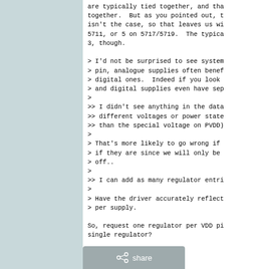are typically tied together, and tha
together.  But as you pointed out, t
isn't the case, so that leaves us wi
5711, or 5 on 5717/5719.  The typica
3, though.

> I'd not be surprised to see system
> pin, analogue supplies often benef
> digital ones.  Indeed if you look
> and digital supplies even have sep
>
>> I didn't see anything in the data
>> different voltages or power state
>> than the special voltage on PVDD)
>
> That's more likely to go wrong if
> if they are since we will only be
> off..
>
>> I can add as many regulator entri
>
> Have the driver accurately reflect
> per supply.

So, request one regulator per VDD pi
single regulator?
[Figure (other): Share button bar at the bottom of the page with a share icon and 'share' text label]